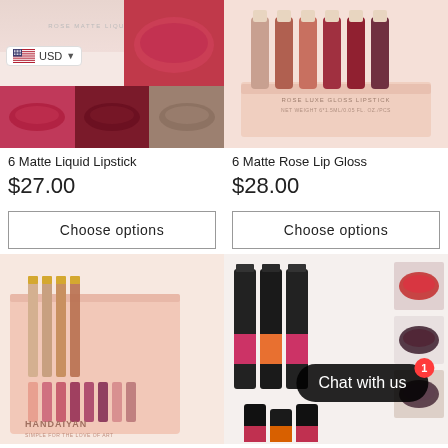[Figure (photo): 6 Matte Liquid Lipstick product image with USD currency selector overlay and lip color swatches]
[Figure (photo): 6 Matte Rose Lip Gloss set product image showing multiple gloss tubes in a pink box]
6 Matte Liquid Lipstick
$27.00
6 Matte Rose Lip Gloss
$28.00
Choose options
Choose options
[Figure (photo): HANDAIYAN lip gloss set in pink packaging with multiple lipstick tubes]
[Figure (photo): Multiple lipstick products with red lip swatch thumbnails and Chat with us bubble overlay]
Chat with us